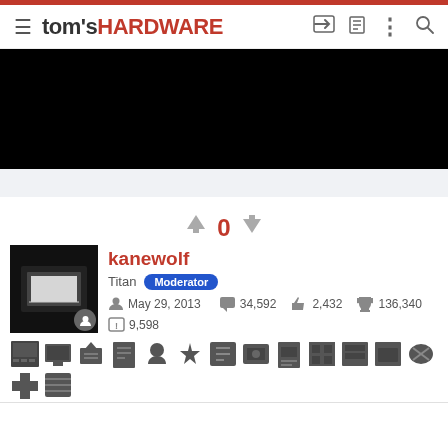tom's HARDWARE
[Figure (screenshot): Black banner advertisement area]
0
[Figure (screenshot): User profile card for kanewolf, Titan Moderator. Joined May 29, 2013. Messages: 34,592. Reaction score: 2,432. Trophy points: 136,340. Solutions: 9,598. Multiple badge icons displayed.]